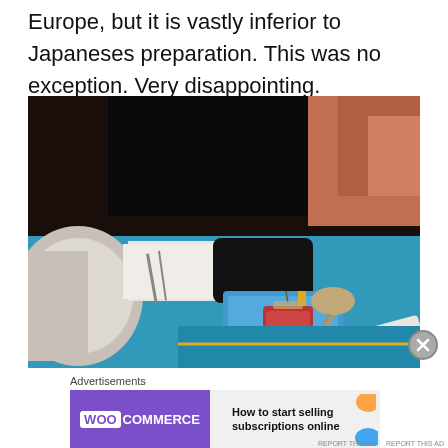Europe, but it is vastly inferior to Japaneses preparation. This was no exception. Very disappointing.
[Figure (photo): Photo of a small piece of sashimi/tuna on a blue square plate with a spoon and a smartphone on a restaurant table]
Advertisements
[Figure (other): WooCommerce advertisement banner: 'How to start selling subscriptions online']